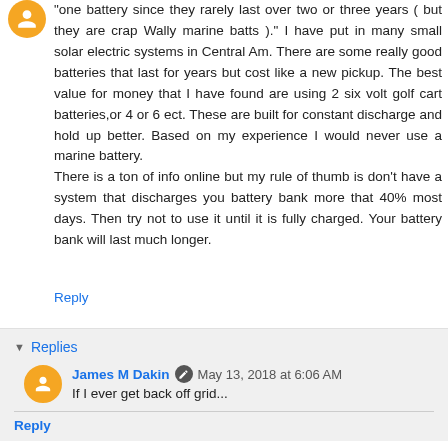"one battery since they rarely last over two or three years ( but they are crap Wally marine batts )." I have put in many small solar electric systems in Central Am. There are some really good batteries that last for years but cost like a new pickup. The best value for money that I have found are using 2 six volt golf cart batteries,or 4 or 6 ect. These are built for constant discharge and hold up better. Based on my experience I would never use a marine battery.
There is a ton of info online but my rule of thumb is don't have a system that discharges you battery bank more that 40% most days. Then try not to use it until it is fully charged. Your battery bank will last much longer.
Reply
Replies
James M Dakin
May 13, 2018 at 6:06 AM
If I ever get back off grid...
Reply